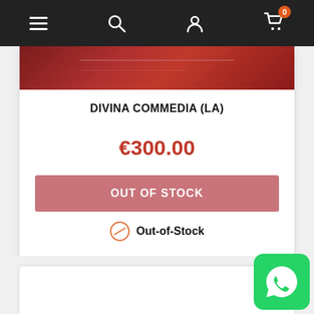Navigation bar with menu, search, account, and cart (0 items) icons
[Figure (photo): Partial view of a dark red book cover for Divina Commedia]
DIVINA COMMEDIA (LA)
€300.00
OUT OF STOCK
Out-of-Stock
[Figure (logo): WhatsApp green button icon in bottom right corner]